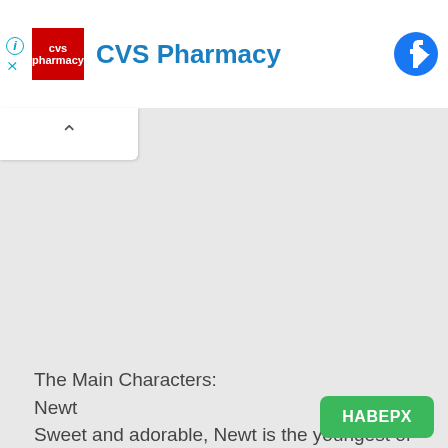[Figure (logo): CVS Pharmacy advertisement banner with red CVS pharmacy logo on left, 'CVS Pharmacy' text in blue, info/close icons, and Facebook share icon on right]
[Figure (other): Collapse/minimize chevron button (^) on white background above gray content area]
The Main Characters:
Newt
Sweet and adorable, Newt is the youngest of the Oddbods by a whopping 3 days!

Jeff
Obsessively compulsive and unashamedly meticulous, Jeff loves order and discipline in all that
[Figure (other): Green button labeled HABEPX in bottom-right corner]